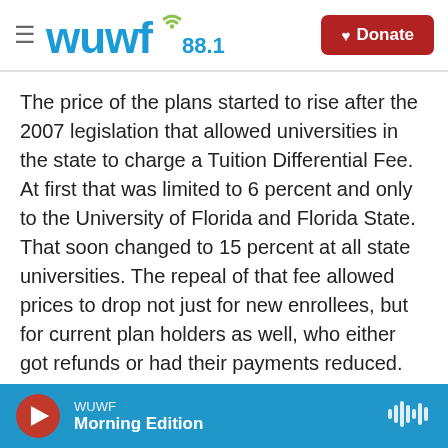WUWF 88.1 — Donate
The price of the plans started to rise after the 2007 legislation that allowed universities in the state to charge a Tuition Differential Fee. At first that was limited to 6 percent and only to the University of Florida and Florida State. That soon changed to 15 percent at all state universities. The repeal of that fee allowed prices to drop not just for new enrollees, but for current plan holders as well, who either got refunds or had their payments reduced.
Colavecchio also says that with the lower prices, the number of plans sold during this enrollment
WUWF — Morning Edition